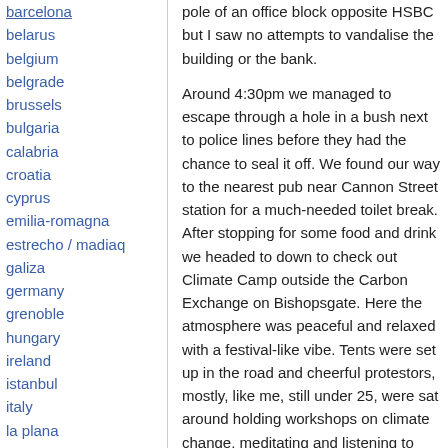barcelona
belarus
belgium
belgrade
brussels
bulgaria
calabria
croatia
cyprus
emilia-romagna
estrecho / madiaq
galiza
germany
grenoble
hungary
ireland
istanbul
italy
la plana
liege
liguria
lille
linksunten
lombardia
madrid
malta
marseille
pole of an office block opposite HSBC but I saw no attempts to vandalise the building or the bank.
Around 4:30pm we managed to escape through a hole in a bush next to police lines before they had the chance to seal it off. We found our way to the nearest pub near Cannon Street station for a much-needed toilet break. After stopping for some food and drink we headed to down to check out Climate Camp outside the Carbon Exchange on Bishopsgate. Here the atmosphere was peaceful and relaxed with a festival-like vibe. Tents were set up in the road and cheerful protestors, mostly, like me, still under 25, were sat around holding workshops on climate change, meditating and listening to music. The camp was surrounded by police but they seemed much less tense than those by the Bank of England and they let us into the camp without any hassle.